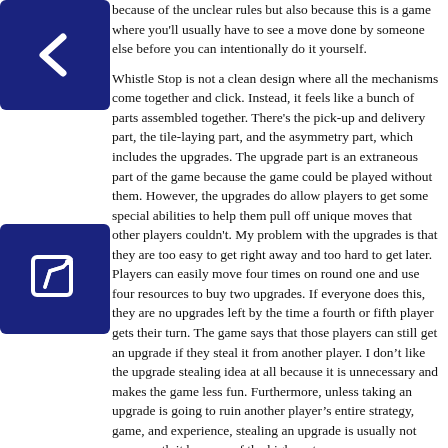because of the unclear rules but also because this is a game where you'll usually have to see a move done by someone else before you can intentionally do it yourself.
Whistle Stop is not a clean design where all the mechanisms come together and click. Instead, it feels like a bunch of parts assembled together. There's the pick-up and delivery part, the tile-laying part, and the asymmetry part, which includes the upgrades. The upgrade part is an extraneous part of the game because the game could be played without them. However, the upgrades do allow players to get some special abilities to help them pull off unique moves that other players couldn't. My problem with the upgrades is that they are too easy to get right away and too hard to get later. Players can easily move four times on round one and use four resources to buy two upgrades. If everyone does this, they are no upgrades left by the time a fourth or fifth player gets their turn. The game says that those players can still get an upgrade if they steal it from another player. I don't like the upgrade stealing idea at all because it is unnecessary and makes the game less fun. Furthermore, unless taking an upgrade is going to ruin another player's entire strategy, game, and experience, stealing an upgrade is usually not even worth it because of the high cost.
The last complaint that I'll mention is the scalability of the game. There is no ideal player count in Whistle Stop, and the game instead the game suffers a bit at all the player counts. With two players, there isn't enough